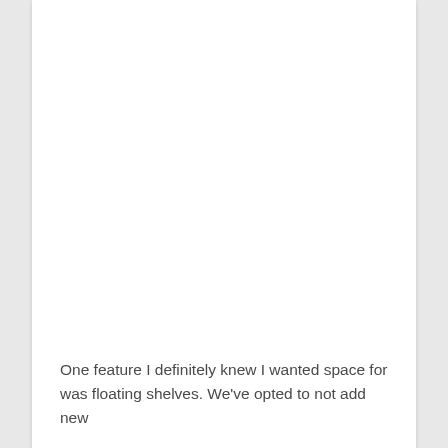One feature I definitely knew I wanted space for was floating shelves. We've opted to not add new